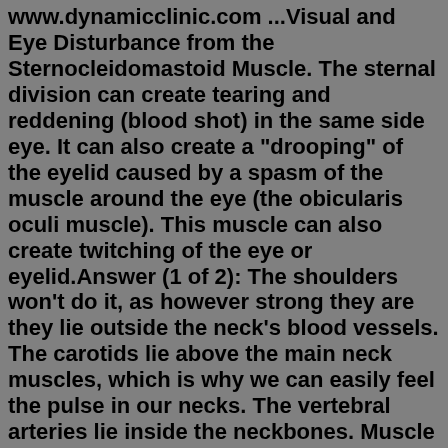www.dynamicclinic.com ...Visual and Eye Disturbance from the Sternocleidomastoid Muscle. The sternal division can create tearing and reddening (blood shot) in the same side eye. It can also create a "drooping" of the eyelid caused by a spasm of the muscle around the eye (the obicularis oculi muscle). This muscle can also create twitching of the eye or eyelid.Answer (1 of 2): The shoulders won't do it, as however strong they are they lie outside the neck's blood vessels. The carotids lie above the main neck muscles, which is why we can easily feel the pulse in our necks. The vertebral arteries lie inside the neckbones. Muscle tightness won't affect b...Dec 02, 2020 · Torticollis. Torticollis, also known as wry neck, is a condition in which your neck muscles stay contracted in chronically shortened positions. 2  ... Forward Head Posture and Dowager's Hump. Whiplash. Respiratory Problems. Scalenes > "Thoracic outlet" and "carpal tunnel" syndromes; chest, arm, and upper back pain. Scalenes contribute to severe tension headache and are one of the leading